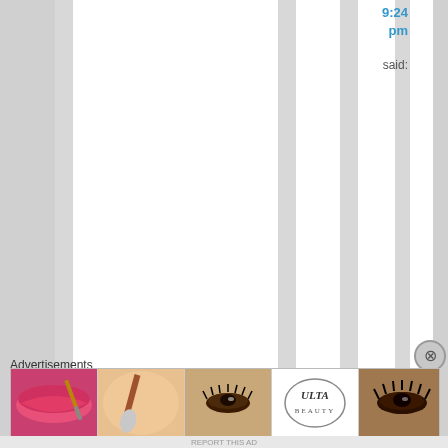9:24 pm
said:
http://www.dai
Advertisements
[Figure (screenshot): Advertisement strip with beauty/makeup images and ULTA logo and SHOP NOW button]